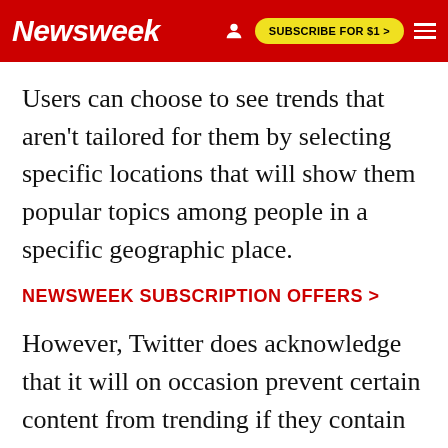Newsweek | SUBSCRIBE FOR $1 >
Users can choose to see trends that aren't tailored for them by selecting specific locations that will show them popular topics among people in a specific geographic place.
NEWSWEEK SUBSCRIPTION OFFERS >
However, Twitter does acknowledge that it will on occasion prevent certain content from trending if they contain profanity or adult/graphic references, if they incite hate or if they otherwise violate Twitter's rules.